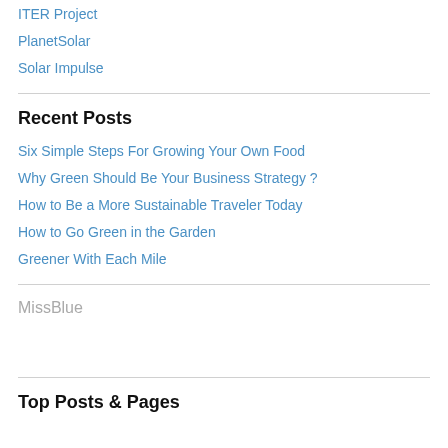ITER Project
PlanetSolar
Solar Impulse
Recent Posts
Six Simple Steps For Growing Your Own Food
Why Green Should Be Your Business Strategy ?
How to Be a More Sustainable Traveler Today
How to Go Green in the Garden
Greener With Each Mile
MissBlue
Top Posts & Pages